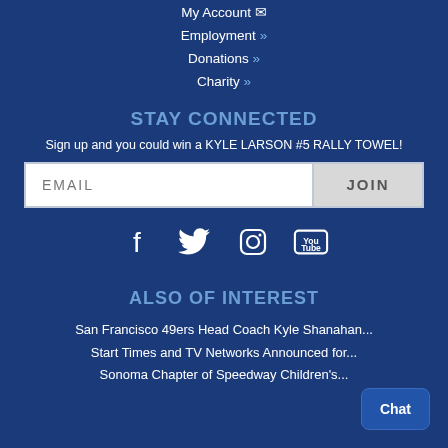My Account  Employment »  Donations »  Charity »
STAY CONNECTED
Sign up and you could win a KYLE LARSON #5 RALLY TOWEL!
[Figure (other): Email input field with JOIN button and social media icons (Facebook, Twitter, Instagram, YouTube)]
ALSO OF INTEREST
San Francisco 49ers Head Coach Kyle Shanahan...
Start Times and TV Networks Announced for...
Sonoma Chapter of Speedway Children's...
Chat